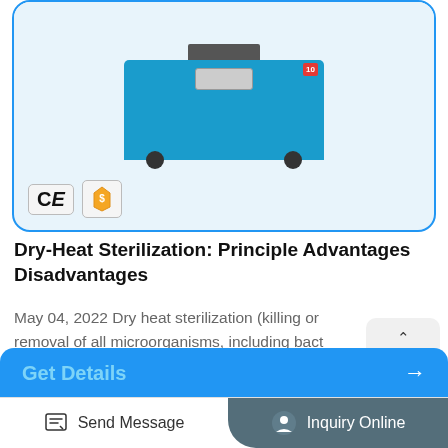[Figure (photo): Dry heat sterilization oven/machine on wheels, teal/blue color, with CE mark and supplier gold badge certification icons shown below the image]
Dry-Heat Sterilization: Principle Advantages Disadvantages
May 04, 2022 Dry heat sterilization (killing or removal of all microorganisms, including bact spores) technique requires a longer exposure time (1.5 to 3 hours) and higher temperatures than moist heat sterilization. Various available methods of dry heat sterilization are; hot air oven, incineration, flaming (wire loop), etc.
Get Details →
Send Message   Inquiry Online